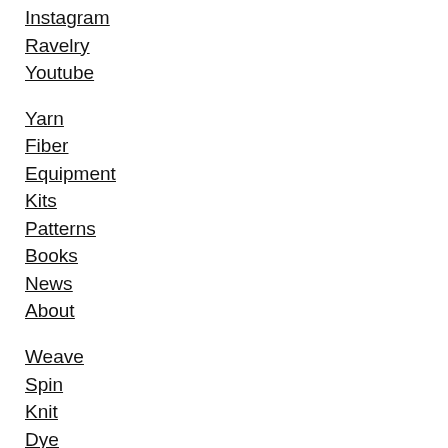Instagram
Ravelry
Youtube
Yarn
Fiber
Equipment
Kits
Patterns
Books
News
About
Weave
Spin
Knit
Dye
Felt
Crochet
Rug Making